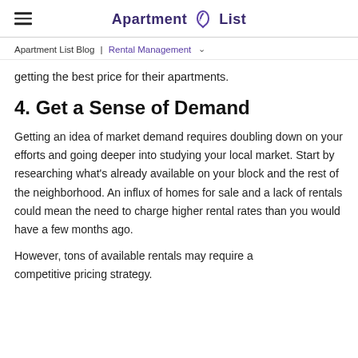Apartment List
Apartment List Blog | Rental Management
getting the best price for their apartments.
4. Get a Sense of Demand
Getting an idea of market demand requires doubling down on your efforts and going deeper into studying your local market. Start by researching what's already available on your block and the rest of the neighborhood. An influx of homes for sale and a lack of rentals could mean the need to charge higher rental rates than you would have a few months ago.
However, tons of available rentals may require a competitive pricing strategy.